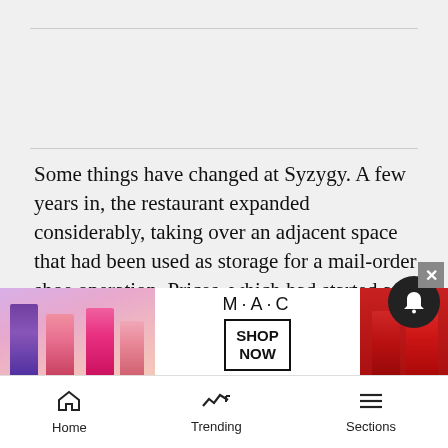Some things have changed at Syzygy. A few years in, the restaurant expanded considerably, taking over an adjacent space that had been used as storage for a mail-order shoe operation. Prices, which had started at a modest $16 to $25 for entrees, were adjusted upward as Harris and his accountant realized that the numbers really didn't make sense.
Still, Syzygy is marked by a notable consistency. The original space has not been touched at all; the water windows that divide the room haven't been deemed outdat… 1995. A… chef for 13…
[Figure (other): MAC Cosmetics advertisement banner showing lipsticks in purple, pink, and red shades with MAC logo and SHOP NOW button]
Home | Trending | Sections